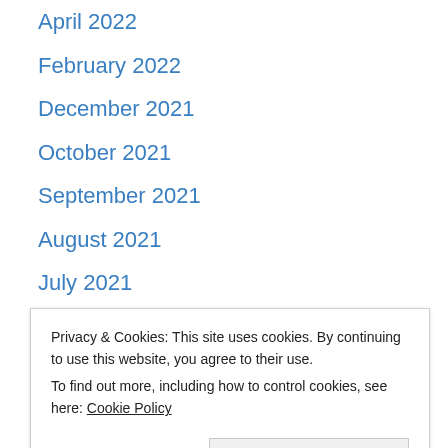April 2022
February 2022
December 2021
October 2021
September 2021
August 2021
July 2021
June 2021
April 2021
December 2020
September 2020
June 2020
October 2019
Privacy & Cookies: This site uses cookies. By continuing to use this website, you agree to their use. To find out more, including how to control cookies, see here: Cookie Policy
October 2018